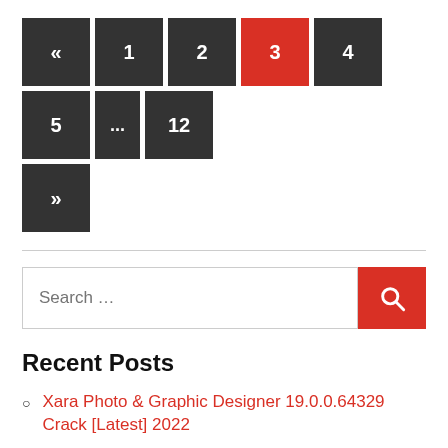[Figure (other): Pagination navigation with buttons: «, 1, 2, 3 (active/red), 4, 5, ..., 12, »]
[Figure (other): Search input box with red search button containing a magnifying glass icon]
Recent Posts
Xara Photo & Graphic Designer 19.0.0.64329 Crack [Latest] 2022
VSDC Video Editor 7.1.12.430 Crack Plus Activation Key [2022]
Bandicam 6.0.1.2003 Crack + Serial Key Download {Latest}